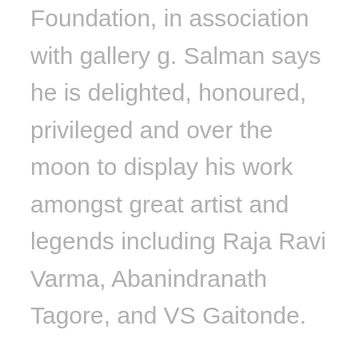Foundation, in association with gallery g. Salman says he is delighted, honoured, privileged and over the moon to display his work amongst great artist and legends including Raja Ravi Varma, Abanindranath Tagore, and VS Gaitonde.
Taking to his Instagram, the actor wrote, "Awkward embarrassed n yet delighted, honoured, privileged n over the moon to display my work amongst such great artist n legends like Raja Ravi Varma, Abanindranath Tagore, & VS Gaitonde. In all humility thank u for the honour! @sgmf2020 @googleartsculture @sgnworld